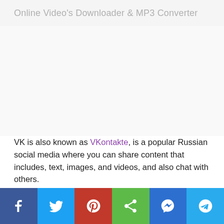Online Video's Downloader & MP3 Converter
[Figure (other): Advertisement or banner placeholder area]
VK is also known as VKontakte, is a popular Russian social media where you can share content that includes, text, images, and videos, and also chat with others.
Now, whenever you wish to see the content of VKontakte, it is not necessary that you have a good internet connection. So, VK Video Downloader helps you to watch your favorite video offline at leisure.
[Figure (other): Social share bar with Facebook, Twitter, Pinterest, Share, Messenger, and Telegram icons]